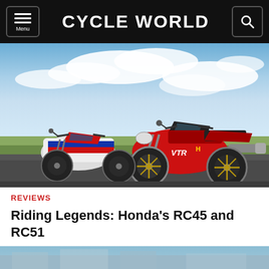CYCLE WORLD
[Figure (photo): Two Honda motorcycles (RC45 and RC51) parked on a road with green grass and cloudy sky in the background. The red RC51 is in the foreground and a red/white/blue RC45 is behind it.]
REVIEWS
Riding Legends: Honda's RC45 and RC51
[Figure (photo): Partial view of a second motorcycle photo at the bottom of the page, cropped.]